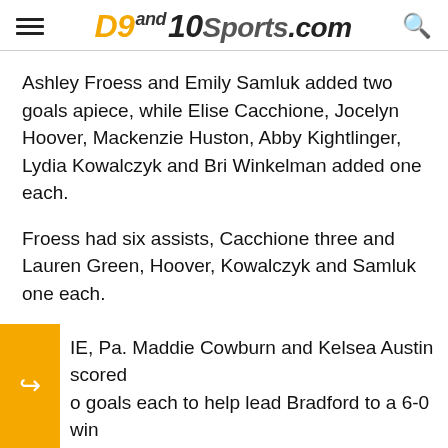D9and10Sports.com
Ashley Froess and Emily Samluk added two goals apiece, while Elise Cacchione, Jocelyn Hoover, Mackenzie Huston, Abby Kightlinger, Lydia Kowalczyk and Bri Winkelman added one each.
Froess had six assists, Cacchione three and Lauren Green, Hoover, Kowalczyk and Samluk one each.
BRADFORD 6, ERIE 0
IE, Pa. Maddie Cowburn and Kelsea Austin scored o goals each to help lead Bradford to a 6-0 win